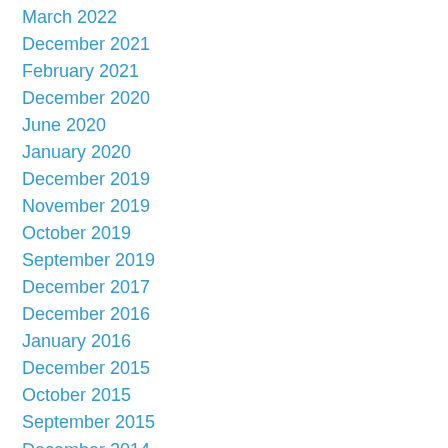March 2022
December 2021
February 2021
December 2020
June 2020
January 2020
December 2019
November 2019
October 2019
September 2019
December 2017
December 2016
January 2016
December 2015
October 2015
September 2015
December 2014
July 2014
March 2014
February 2014
January 2014